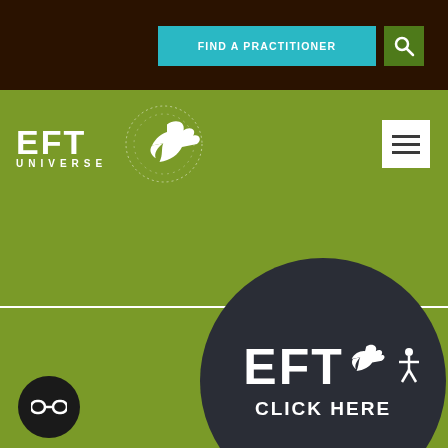FIND A PRACTITIONER
[Figure (logo): EFT Universe logo with dove/bird graphic and text EFT UNIVERSE]
[Figure (illustration): Dark circular button with EFT text and dove logo and CLICK HERE text]
[Figure (illustration): Small dark circle with chain-link icon, bottom left corner]